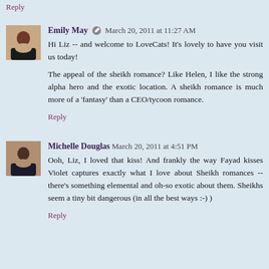Reply
Emily May  March 20, 2011 at 11:27 AM
Hi Liz -- and welcome to LoveCats! It's lovely to have you visit us today!

The appeal of the sheikh romance? Like Helen, I like the strong alpha hero and the exotic location. A sheikh romance is much more of a 'fantasy' than a CEO/tycoon romance.
Reply
Michelle Douglas  March 20, 2011 at 4:51 PM
Ooh, Liz, I loved that kiss! And frankly the way Fayad kisses Violet captures exactly what I love about Sheikh romances -- there's something elemental and oh-so exotic about them. Sheikhs seem a tiny bit dangerous (in all the best ways :-) )
Reply